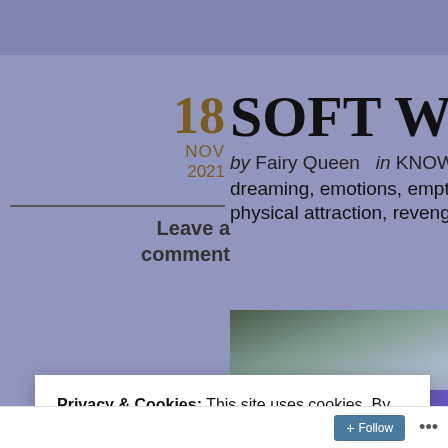SOFT WHISPER
18 NOV 2021
by Fairy Queen  in KNOWLEDGE  T…
dreaming, emotions, emptiness, fett…
physical attraction, revenge, sensati…
Leave a comment
[Figure (photo): Dark misty atmospheric photo, background visible behind blog post header area]
Privacy & Cookies: This site uses cookies. By continuing to use this website, you agree to their use.
To find out more, including how to control cookies, see here: Cookie Policy
Close and accept